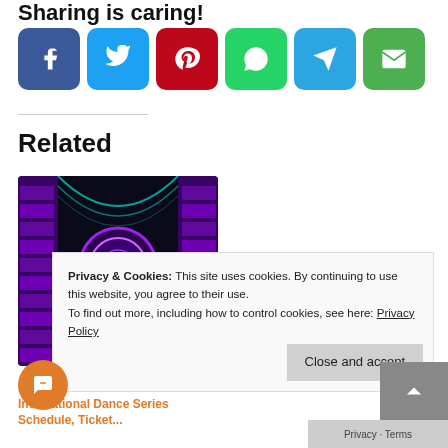Sharing is caring!
[Figure (infographic): Row of social media share buttons: Facebook (dark blue), Twitter (light blue), Pinterest (red), WhatsApp (green), Telegram (blue), Email (green)]
Related
[Figure (photo): Photo of a concert hall or theater with purple and teal lights and a large circular window]
strom Center: 2016-2017 International Dance Series Schedule, Ticket...
Privacy & Cookies: This site uses cookies. By continuing to use this website, you agree to their use. To find out more, including how to control cookies, see here: Privacy Policy
Close and accept
Privacy - Terms